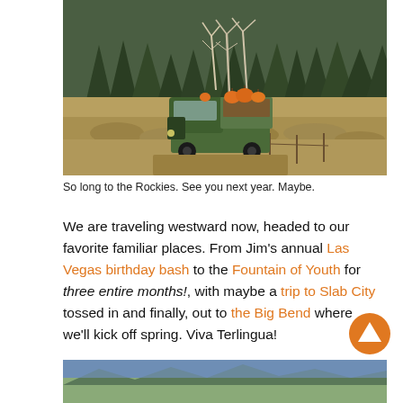[Figure (photo): An old green truck loaded with pumpkins on its roof/bed, parked in a dry scrubby meadow with evergreen and bare deciduous trees on a hillside in the background. Rocky Mountain autumn scenery.]
So long to the Rockies. See you next year. Maybe.
We are traveling westward now, headed to our favorite familiar places. From Jim’s annual Las Vegas birthday bash to the Fountain of Youth for three entire months!, with maybe a trip to Slab City tossed in and finally, out to the Big Bend where we’ll kick off spring. Viva Terlingua!
[Figure (photo): Bottom portion of a landscape photo showing blue sky and mountainous terrain, partially visible at the bottom of the page.]